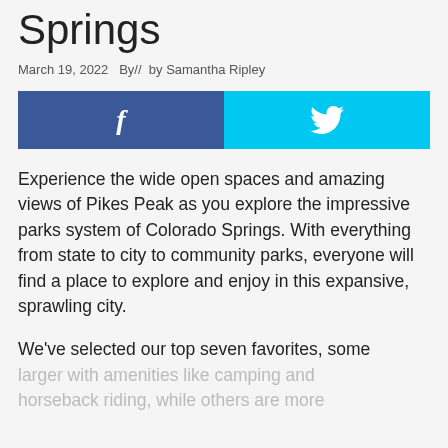Springs
March 19, 2022  By//  by Samantha Ripley
[Figure (other): Social share buttons: Facebook (blue) and Twitter (cyan) side by side]
Experience the wide open spaces and amazing views of Pikes Peak as you explore the impressive parks system of Colorado Springs. With everything from state to city to community parks, everyone will find a place to explore and enjoy in this expansive, sprawling city.
We've selected our top seven favorites, some larger with amenities like camping and horseback riding, while others are more